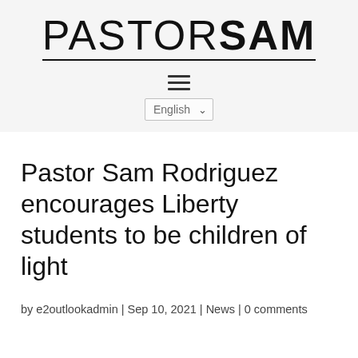PASTORSAM
Pastor Sam Rodriguez encourages Liberty students to be children of light
by e2outlookadmin | Sep 10, 2021 | News | 0 comments